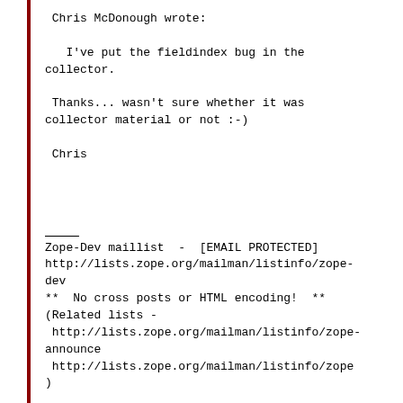Chris McDonough wrote:

   I've put the fieldindex bug in the
collector.

 Thanks... wasn't sure whether it was
collector material or not :-)

 Chris
Zope-Dev maillist  -  [EMAIL PROTECTED]
http://lists.zope.org/mailman/listinfo/zope-dev
**  No cross posts or HTML encoding!  **
(Related lists -
 http://lists.zope.org/mailman/listinfo/zope-announce
 http://lists.zope.org/mailman/listinfo/zope
)